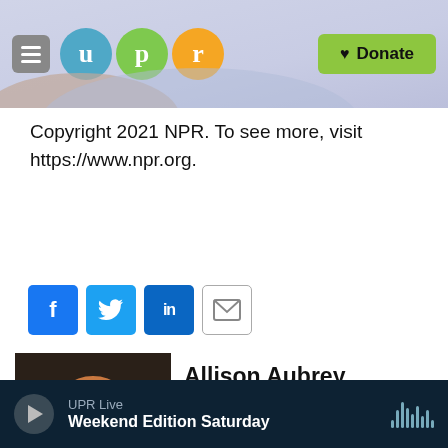[Figure (screenshot): UPR website header with hamburger menu, UPR logo circles (u, p, r) in teal/green/orange, and green Donate button with heart icon]
Copyright 2021 NPR. To see more, visit https://www.npr.org.
NPR News
[Figure (other): Social sharing icons: Facebook (f), Twitter bird, LinkedIn (in), and email envelope]
[Figure (photo): Photo of Allison Aubrey, a woman with reddish-blonde hair wearing a red/coral top, resting her chin on her hand]
Allison Aubrey
Allison Aubrey is a correspondent for NPR News, where her stories can be heard on Morning Edition and All Things
UPR Live Weekend Edition Saturday